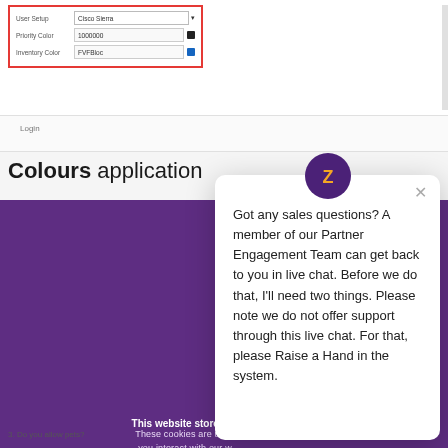[Figure (screenshot): Form panel with red border containing rows for User Setup (Cisco Sierra dropdown), Priority Color (1000000 input with black square), and Inventory Color (FVFBloc input with blue square)]
[Figure (screenshot): Loan section with radio button and Please select a file... Choose... dropdown, and To Source INGRID link]
Colours application
This website stores cookies on your computer. These cookies are used to collect information about how you interact with our website and allow us to remember you. We use this information in order to improve and customize your browsing experience and for analytics and metrics about our visitors both on this website and other media. To find out more about the cookies we use, see our
ACCEPT COOKIES
DECLINE
3. Do you allow pets?
[Figure (screenshot): Zendesk chat popup with purple logo icon, X close button, and message: Got any sales questions? A member of our Partner Engagement Team can get back to you in live chat. Before we do that, I'll need two things. Please note we do not offer support through this live chat. For that, please Raise a Hand in the system.]
[Figure (screenshot): Yellow circular chat bubble button in bottom right corner]